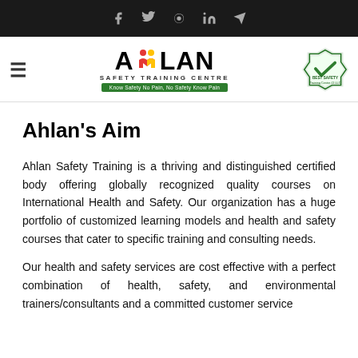f  ✓  ®  in  ➤
[Figure (logo): Ahlan Safety Training Centre logo with hamburger menu and Best Safety Training Centre badge]
Ahlan's Aim
Ahlan Safety Training is a thriving and distinguished certified body offering globally recognized quality courses on International Health and Safety. Our organization has a huge portfolio of customized learning models and health and safety courses that cater to specific training and consulting needs.
Our health and safety services are cost effective with a perfect combination of health, safety, and environmental trainers/consultants and a committed customer service